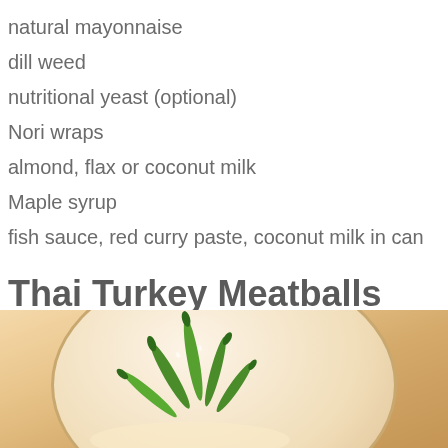natural mayonnaise
dill weed
nutritional yeast (optional)
Nori wraps
almond, flax or coconut milk
Maple syrup
fish sauce, red curry paste, coconut milk in can
Thai Turkey Meatballs with Red Curry Sauce
[Figure (photo): Close-up photo of green chili peppers/beans on a cream-colored plate with a warm beige background]